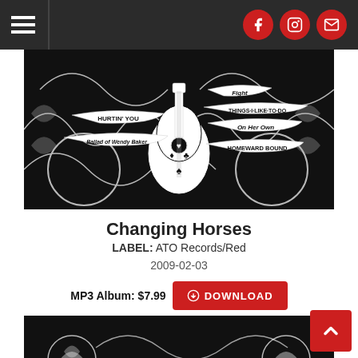Navigation header with hamburger menu and social icons (Facebook, Instagram, Email)
[Figure (illustration): Black and white decorative album art for 'Changing Horses' featuring an acoustic guitar in the center with scrollwork and song title banners: 'Fight', 'Hurtin' You', 'Ballad of Wendy Baker', 'Things I Like To Do', 'On Her Own', 'Homeward Bound']
Changing Horses
LABEL: ATO Records/Red
2009-02-03
MP3 Album: $7.99  DOWNLOAD
[Figure (illustration): Black and white decorative album art bottom section, partially visible, showing floral/rose motifs and partial text 'Ben']